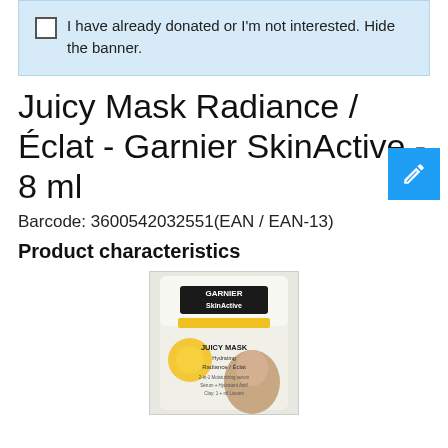I have already donated or I'm not interested. Hide the banner.
Juicy Mask Radiance / Éclat - Garnier SkinActive - 8 ml
Barcode: 3600542032551(EAN / EAN-13)
Product characteristics
[Figure (photo): Product photo of Garnier SkinActive Juicy Mask Radiance / Éclat 8ml packet, showing a white and yellow sachet with a woman's face and citrus imagery, product name and details visible on packaging.]